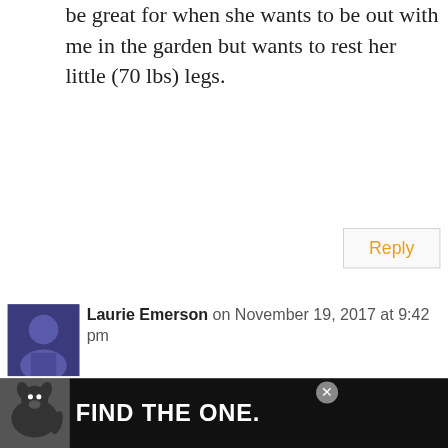be great for when she wants to be out with me in the garden but wants to rest her little (70 lbs) legs.
Reply
Laurie Emerson on November 19, 2017 at 9:42 pm
I am going to give it a try!
Reply
101
Daniel Scott on November 19, 2017 at 10:44 pm
My dog truly knows his name. He also
FIND THE ONE.